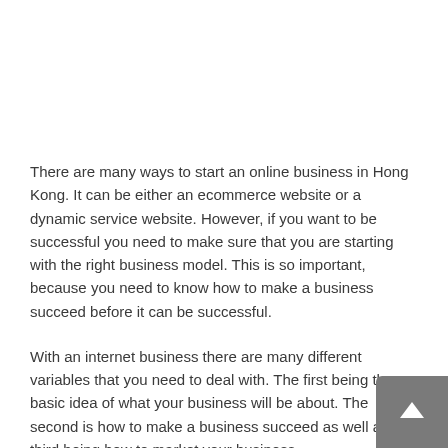There are many ways to start an online business in Hong Kong. It can be either an ecommerce website or a dynamic service website. However, if you want to be successful you need to make sure that you are starting with the right business model. This is so important, because you need to know how to make a business succeed before it can be successful.
With an internet business there are many different variables that you need to deal with. The first being the basic idea of what your business will be about. The second is how to make a business succeed as well as the third being how to market your business.